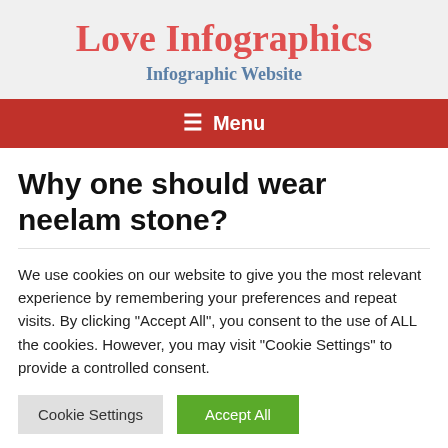Love Infographics
Infographic Website
☰ Menu
Why one should wear neelam stone?
We use cookies on our website to give you the most relevant experience by remembering your preferences and repeat visits. By clicking "Accept All", you consent to the use of ALL the cookies. However, you may visit "Cookie Settings" to provide a controlled consent.
Cookie Settings | Accept All